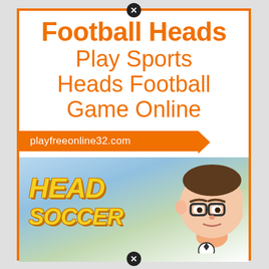Football Heads Play Sports Heads Football Game Online
playfreeonline32.com
[Figure (screenshot): Head Soccer game screenshot showing the HEAD SOCCER logo in yellow/gold italic text on a gradient background, with a cartoon big-headed soccer player character on the right side.]